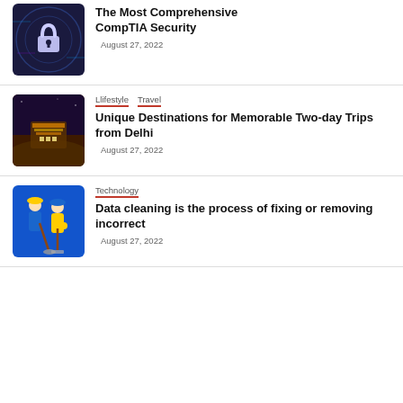[Figure (photo): Security/cybersecurity themed image with a padlock and digital circuit background]
The Most Comprehensive CompTIA Security
August 27, 2022
Llifestyle   Travel
[Figure (photo): Aerial night view of an illuminated temple or palace structure on a hillside]
Unique Destinations for Memorable Two-day Trips from Delhi
August 27, 2022
Technology
[Figure (illustration): Illustration of two workers in blue uniforms with cleaning equipment on a blue background]
Data cleaning is the process of fixing or removing incorrect
August 27, 2022